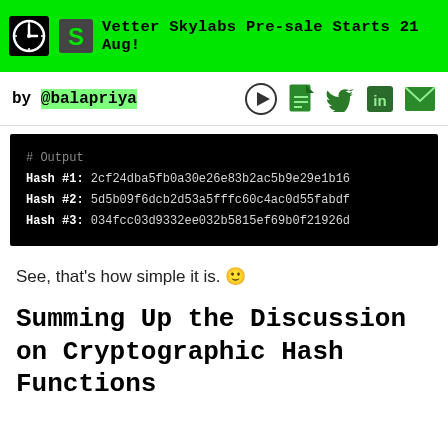Vetter Skylabs Pre-sale Starts 21 Aug!
by @balapriya
[Figure (screenshot): Black terminal output showing hash values: # Output, Hash #1: 2cf24dba5fb0a30e26e83b2ac5b9e29e1b16, Hash #2: 5d5b09f6dcb2d53a5fffc60c4ac0d55fabdf, Hash #3: 034fcc03d9332ee032b5815ef69b0f21926d]
See, that's how simple it is. 🙂
Summing Up the Discussion on Cryptographic Hash Functions